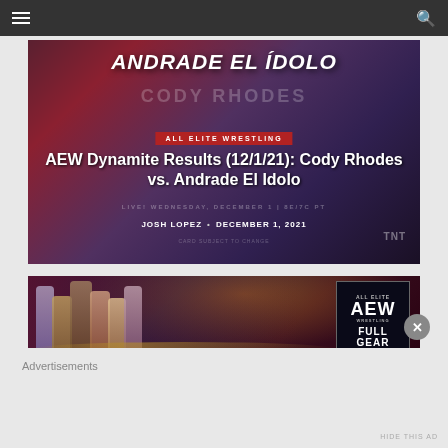Navigation bar with hamburger menu and search icon
[Figure (screenshot): AEW Dynamite promotional image showing Andrade El Idolo vs Cody Rhodes with ALL ELITE WRESTLING badge]
AEW Dynamite Results (12/1/21): Cody Rhodes vs. Andrade El Idolo
JOSH LOPEZ • DECEMBER 1, 2021
[Figure (photo): AEW Full Gear promotional photo showing multiple wrestlers and the AEW Full Gear logo]
Advertisements
HIDE THIS AD